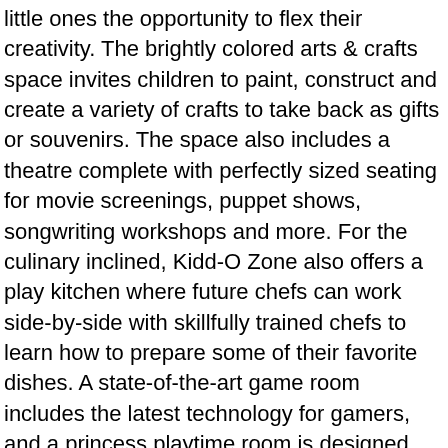little ones the opportunity to flex their creativity. The brightly colored arts & crafts space invites children to paint, construct and create a variety of crafts to take back as gifts or souvenirs. The space also includes a theatre complete with perfectly sized seating for movie screenings, puppet shows, songwriting workshops and more. For the culinary inclined, Kidd-O Zone also offers a play kitchen where future chefs can work side-by-side with skillfully trained chefs to learn how to prepare some of their favorite dishes. A state-of-the-art game room includes the latest technology for gamers, and a princess playtime room is designed for girls to bring their favorite story book fairy tales to life.
Rounding out the new Kidd-O Zone is a food and beverage plaza, Piratas del Caribe, designed as an outdoor marketplace where delicious treats await including an ice cream station,